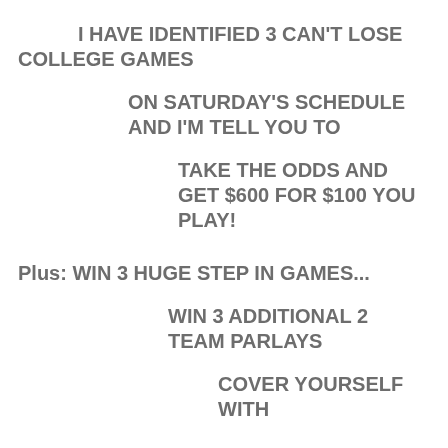I HAVE IDENTIFIED 3 CAN'T LOSE COLLEGE GAMES
ON SATURDAY'S SCHEDULE AND I'M TELL YOU TO
TAKE THE ODDS AND GET $600 FOR $100 YOU PLAY!
Plus: WIN 3 HUGE STEP IN GAMES...
WIN 3 ADDITIONAL 2 TEAM PARLAYS
COVER YOURSELF WITH